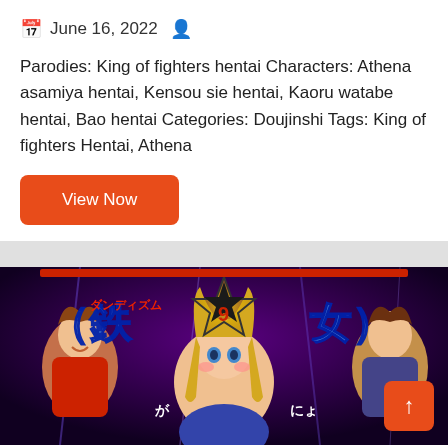June 16, 2022
Parodies: King of fighters hentai Characters: Athena asamiya hentai, Kensou sie hentai, Kaoru watabe hentai, Bao hentai Categories: Doujinshi Tags: King of fighters Hentai, Athena
View Now
[Figure (illustration): Manga/doujinshi cover art showing anime-style characters with Japanese text reading (鉄女) with a star and number 9, featuring multiple characters on a purple/lightning background]